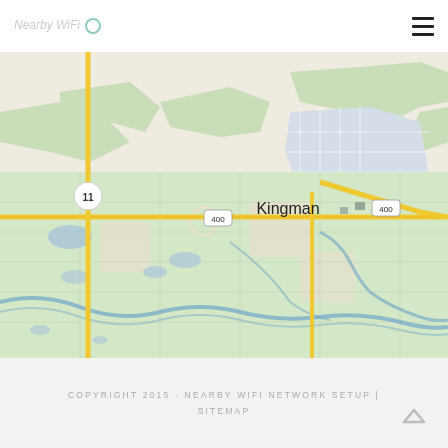Nearby WiFi Network Setup
[Figure (map): Street map showing Kingman, Kansas area with US Route 400, US Route 11, and surrounding roads, rivers, and land terrain.]
COPYRIGHT 2015 - NEARBY WIFI NETWORK SETUP | SITEMAP